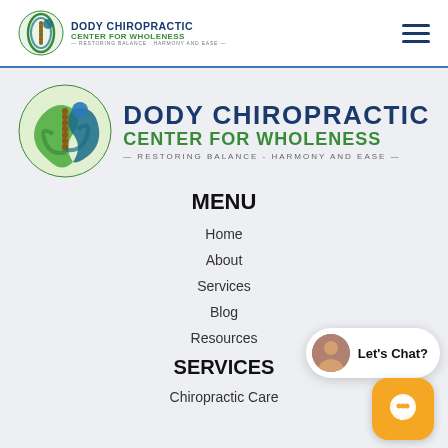[Figure (logo): Dody Chiropractic Center for Wholeness logo in top navigation bar with hamburger menu icon]
[Figure (logo): Dody Chiropractic Center for Wholeness large logo with spine/figure graphic. Text: DODY CHIROPRACTIC CENTER FOR WHOLENESS - RESTORING BALANCE - HARMONY AND EASE -]
MENU
Home
About
Services
Blog
Resources
SERVICES
Chiropractic Care
[Figure (illustration): Let's Chat? chat widget with avatar photo and orange chat button]